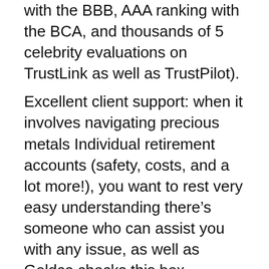with the BBB, AAA ranking with the BCA, and thousands of 5 celebrity evaluations on TrustLink as well as TrustPilot).
Excellent client support: when it involves navigating precious metals Individual retirement accounts (safety, costs, and a lot more!), you want to rest very easy understanding there’s someone who can assist you with any issue, as well as Goldco checks this box.
Goldco has an excellent choice of precious metals products for you to choose from: with gold, silver, platinum, and palladium items that are IRS-approved for your individual retirement account, you have actually got lots of alternatives to select from.
Pros & Disadvantages – What We Like &